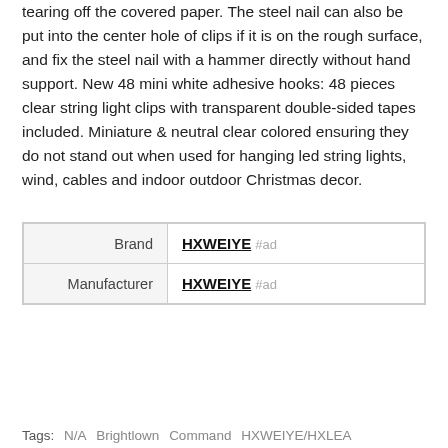tearing off the covered paper. The steel nail can also be put into the center hole of clips if it is on the rough surface, and fix the steel nail with a hammer directly without hand support. New 48 mini white adhesive hooks: 48 pieces clear string light clips with transparent double-sided tapes included. Miniature & neutral clear colored ensuring they do not stand out when used for hanging led string lights, wind, cables and indoor outdoor Christmas decor.
|  |  |
| --- | --- |
| Brand | HXWEIYE #ad |
| Manufacturer | HXWEIYE #ad |
As an Amazon Associate I earn from qualifying purchases. This website uses the only necessary cookies to ensure you get the best experience on our website. More information
Tags: N/A  Brightlown  Command  HXWEIYE/HXLEA